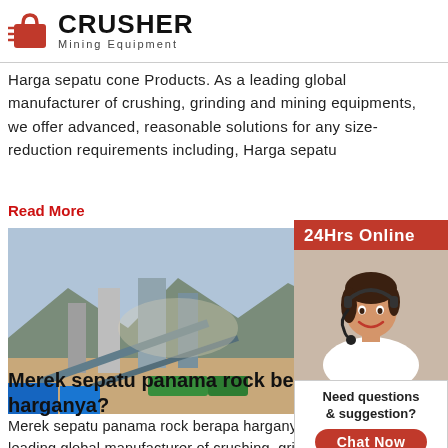[Figure (logo): Crusher Mining Equipment logo with red shopping bag icon and bold black CRUSHER text]
Harga sepatu cone Products. As a leading global manufacturer of crushing, grinding and mining equipments, we offer advanced, reasonable solutions for any size-reduction requirements including, Harga sepatu
Read More
[Figure (photo): Outdoor photograph of a rock crushing and mining plant facility with machinery, conveyor belts, mountains in background]
Merek sepatu panama rock berapa harganya?
Merek sepatu panama rock berapa harganya? P... leading global manufacturer of crushing, grinding... equipments, we offer advanced, reasonable solu... size-reduction requirements including, Merek se... rock berapa harganya?, quarry, aggregate, and different
[Figure (infographic): Sidebar with 24Hrs Online banner, female customer service representative with headset photo, Need questions & suggestion? box with Chat Now button, Enquiry section, and limingjlmofen@sina.com email]